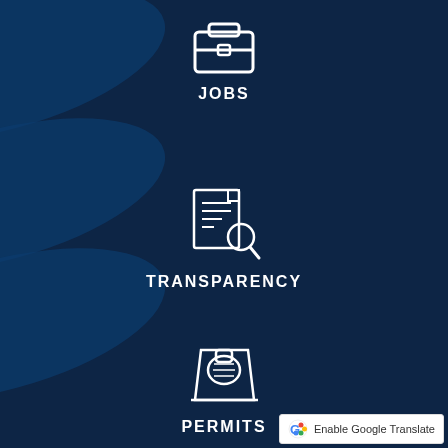[Figure (infographic): Icon of a briefcase (Jobs) on a dark navy blue background with a brushstroke effect]
JOBS
[Figure (infographic): Icon of a document with a magnifying glass (Transparency) on a dark navy blue background with a brushstroke effect]
TRANSPARENCY
[Figure (infographic): Icon of a stamp/permit (Permits) on a dark navy blue background with a brushstroke effect]
PERMITS
Enable Google Translate